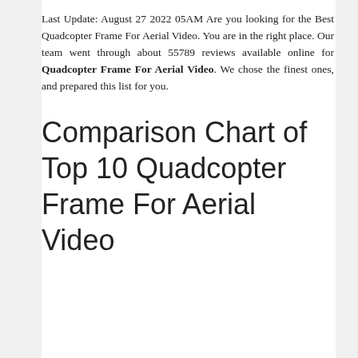Last Update: August 27 2022 05AM Are you looking for the Best Quadcopter Frame For Aerial Video. You are in the right place. Our team went through about 55789 reviews available online for Quadcopter Frame For Aerial Video. We chose the finest ones, and prepared this list for you.
Comparison Chart of Top 10 Quadcopter Frame For Aerial Video